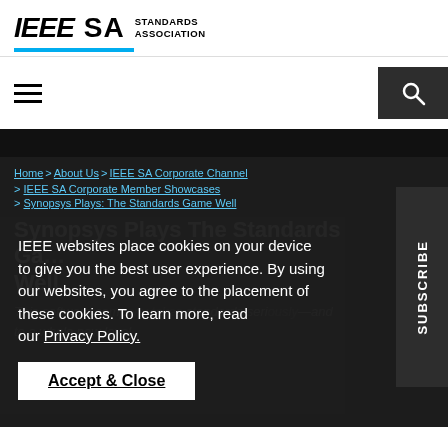IEEE SA STANDARDS ASSOCIATION
Home > About Us > IEEE SA Corporate Channel > IEEE SA Corporate Member Showcases > Synopsys Plays: The Standards Game Well
IEEE websites place cookies on your device to give you the best user experience. By using our websites, you agree to the placement of these cookies. To learn more, read our Privacy Policy.
Accept & Close
Synopsys Plays The Standards Game Well
This software company takes standards seriously—and to a whole new level.